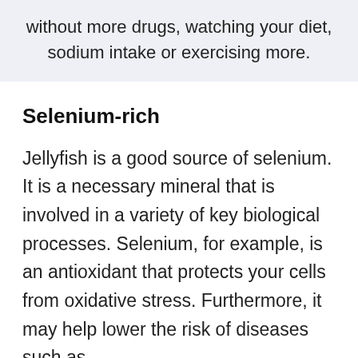without more drugs, watching your diet, sodium intake or exercising more.
Selenium-rich
Jellyfish is a good source of selenium. It is a necessary mineral that is involved in a variety of key biological processes. Selenium, for example, is an antioxidant that protects your cells from oxidative stress. Furthermore, it may help lower the risk of diseases such as